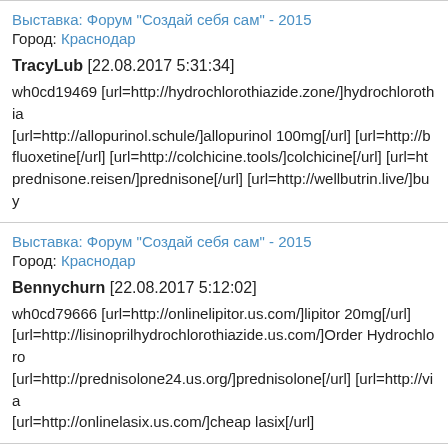Выставка: Форум "Создай себя сам" - 2015
Город: Краснодар
TracyLub [22.08.2017 5:31:34]
wh0cd19469 [url=http://hydrochlorothiazide.zone/]hydrochlorothia... [url=http://allopurinol.schule/]allopurinol 100mg[/url] [url=http://b... fluoxetine[/url] [url=http://colchicine.tools/]colchicine[/url] [url=ht... prednisone.reisen/]prednisone[/url] [url=http://wellbutrin.live/]buy
Выставка: Форум "Создай себя сам" - 2015
Город: Краснодар
Bennychurn [22.08.2017 5:12:02]
wh0cd79666 [url=http://onlinelipitor.us.com/]lipitor 20mg[/url] [url=http://lisinoprilhydrochlorothiazide.us.com/]Order Hydrochloro... [url=http://prednisolone24.us.org/]prednisolone[/url] [url=http://via... [url=http://onlinelasix.us.com/]cheap lasix[/url]
Выставка: Форум "Создай себя сам" - 2015
Город: Краснодар
Alfredslize [22.08.2017 4:53:07]